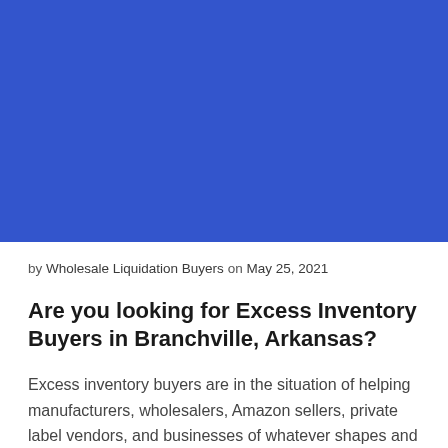[Figure (other): Blue rectangular image placeholder at the top of the article page]
by Wholesale Liquidation Buyers on May 25, 2021
Are you looking for Excess Inventory Buyers in Branchville, Arkansas?
Excess inventory buyers are in the situation of helping manufacturers, wholesalers, Amazon sellers, private label vendors, and businesses of whatever shapes and sizes that have an excess of reference in stock to capitalize